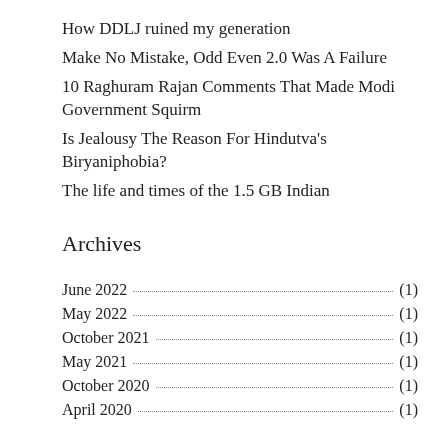How DDLJ ruined my generation
Make No Mistake, Odd Even 2.0 Was A Failure
10 Raghuram Rajan Comments That Made Modi Government Squirm
Is Jealousy The Reason For Hindutva's Biryaniphobia?
The life and times of the 1.5 GB Indian
Archives
June 2022 (1)
May 2022 (1)
October 2021 (1)
May 2021 (1)
October 2020 (1)
April 2020 (1)